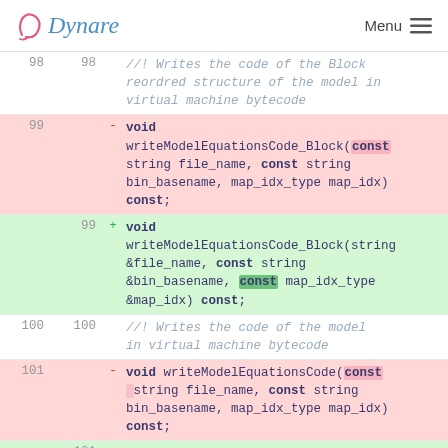Dynare   Menu
98  98    //! Writes the code of the Block reordred structure of the model in virtual machine bytecode
99      -   void writeModelEquationsCode_Block(const string file_name, const string bin_basename, map_idx_type map_idx) const;
99  +   void writeModelEquationsCode_Block(string &file_name, const string &bin_basename, const map_idx_type &map_idx) const;
100 100   //! Writes the code of the model in virtual machine bytecode
101     -   void writeModelEquationsCode(const string file_name, const string bin_basename, map_idx_type map_idx) const;
101 +   void